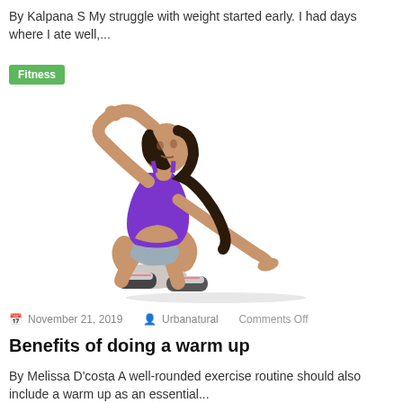By Kalpana S My struggle with weight started early. I had days where I ate well,...
Fitness
[Figure (photo): Woman in purple top and shorts kneeling and doing a side stretch with one arm raised over her head, wearing sneakers, on white background]
November 21, 2019   Urbanatural   Comments Off
Benefits of doing a warm up
By Melissa D'costa A well-rounded exercise routine should also include a warm up as an essential...